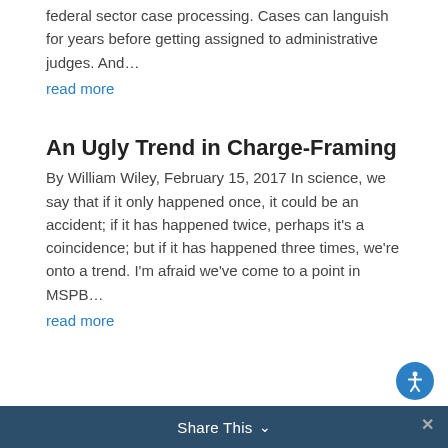federal sector case processing.  Cases can languish for years before getting assigned to administrative judges. And…
read more
An Ugly Trend in Charge-Framing
By William Wiley, February 15, 2017  In science, we say that if it only happened once, it could be an accident; if it has happened twice, perhaps it's a coincidence; but if it has happened three times, we're onto a trend. I'm afraid we've come to a point in MSPB…
read more
Share This ∨